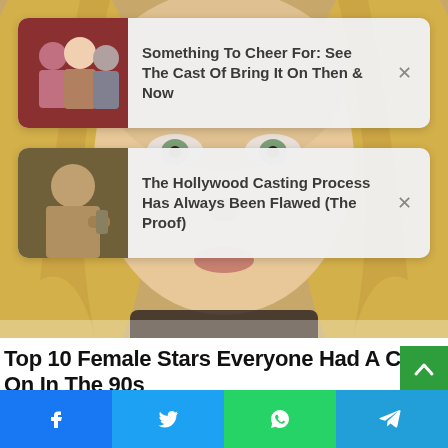[Figure (photo): Background photo of a blonde woman's face close-up, with green eyes and blonde hair]
[Figure (infographic): Ad card 1: thumbnail of group of people, text 'Something To Cheer For: See The Cast Of Bring It On Then & Now' with X close button]
[Figure (infographic): Ad card 2: thumbnail of a man, text 'The Hollywood Casting Process Has Always Been Flawed (The Proof)' with X close button]
Top 10 Female Stars Everyone Had A Crush On In The 90s
BRAINBERRIES
[Figure (infographic): Social share bar with Facebook, Twitter, WhatsApp, and Telegram buttons]